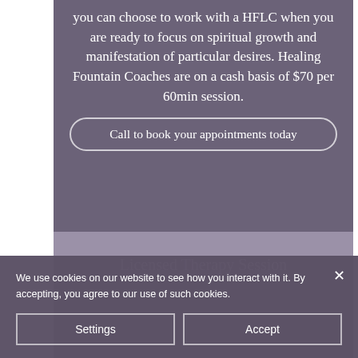you can choose to work with a HFLC when you are ready to focus on spiritual growth and manifestation of particular desires. Healing Fountain Coaches are on a cash basis of $70 per 60min session.
Call to book your appointments today
Licensed Therapy Session
We use cookies on our website to see how you interact with it. By accepting, you agree to our use of such cookies.
Settings
Accept